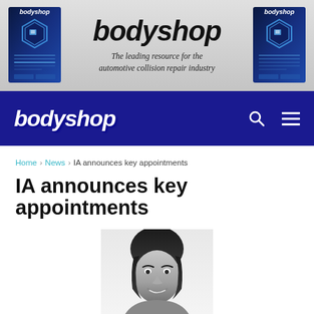[Figure (logo): Bodyshop magazine banner advertisement showing two magazine covers on left and right with central bodyshop logo and tagline 'The leading resource for the automotive collision repair industry']
bodyshop
Home > News > IA announces key appointments
IA announces key appointments
[Figure (photo): Black and white headshot photo of a smiling woman with dark hair]